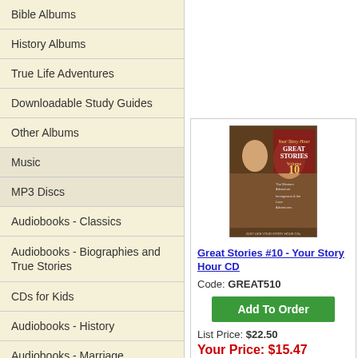Bible Albums
History Albums
True Life Adventures
Downloadable Study Guides
Other Albums
Music
MP3 Discs
Audiobooks - Classics
Audiobooks - Biographies and True Stories
CDs for Kids
Audiobooks - History
Audiobooks - Marriage
[Figure (illustration): Book/CD cover for Great Stories #10 - Your Story Hour CD showing vintage style portrait of man and woman with text 'Great Stories Volume 10']
Great Stories #10 - Your Story Hour CD
Code: GREAT510
Add To Order
List Price: $22.50
Your Price: $15.47